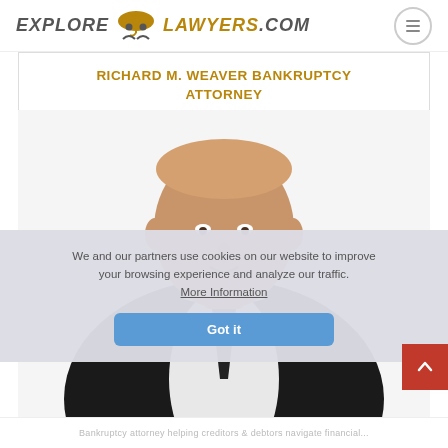EXPLORE LAWYERS.COM
RICHARD M. WEAVER BANKRUPTCY ATTORNEY
[Figure (photo): Professional headshot of a male attorney in a dark suit and tie, smiling slightly, white dress shirt, photographed from chest up against a white background.]
We and our partners use cookies on our website to improve your browsing experience and analyze our traffic. More Information
Got it